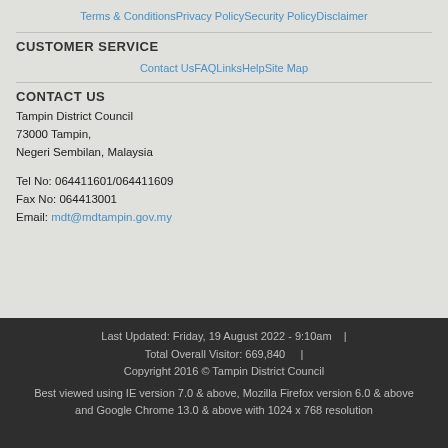Terms & Conditions  Privacy Policy  Security Policy  Disclaimer
CUSTOMER SERVICE
Contact Us  FAQ  Links  Help  Site Map
CONTACT US
Tampin District Council
73000 Tampin,
Negeri Sembilan, Malaysia
Tel No: 064411601/064411609
Fax No: 064413001
Email: mdt@mdtampin.gov.my
Last Updated: Friday, 19 August 2022 - 9:10am  |  Total Overall Visitor: 669,840  |  Copyright 2016 © Tampin District Council
Best viewed using IE version 7.0 & above, Mozilla Firefox version 6.0 & above and Google Chrome 13.0 & above with 1024 x 768 resolution